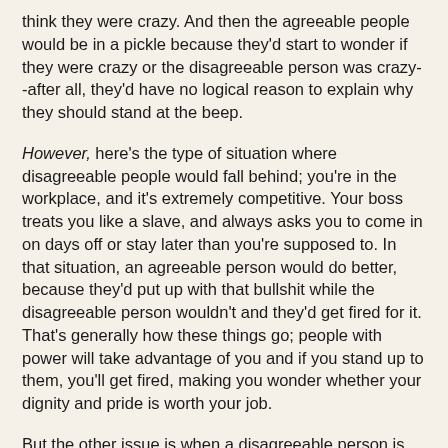think they were crazy. And then the agreeable people would be in a pickle because they'd start to wonder if they were crazy or the disagreeable person was crazy--after all, they'd have no logical reason to explain why they should stand at the beep.
However, here's the type of situation where disagreeable people would fall behind; you're in the workplace, and it's extremely competitive. Your boss treats you like a slave, and always asks you to come in on days off or stay later than you're supposed to. In that situation, an agreeable person would do better, because they'd put up with that bullshit while the disagreeable person wouldn't and they'd get fired for it. That's generally how these things go; people with power will take advantage of you and if you stand up to them, you'll get fired, making you wonder whether your dignity and pride is worth your job.
But the other issue is when a disagreeable person is wrong. This works both ways by the way. An agreeable person can be gaslit more easily because they're more trusting and more open to accepting other peoples' points of view, which